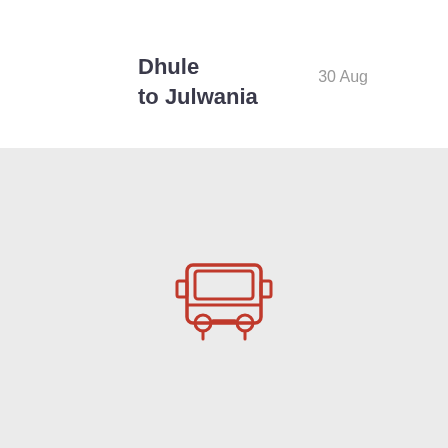Dhule to Julwania
30 Aug
[Figure (illustration): Front-facing red bus icon (outline style) centered on a light gray background]